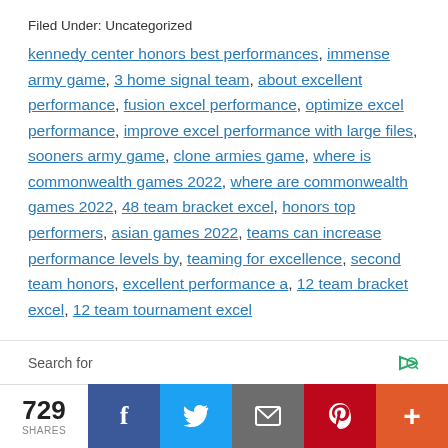Filed Under: Uncategorized
kennedy center honors best performances, immense army game, 3 home signal team, about excellent performance, fusion excel performance, optimize excel performance, improve excel performance with large files, sooners army game, clone armies game, where is commonwealth games 2022, where are commonwealth games 2022, 48 team bracket excel, honors top performers, asian games 2022, teams can increase performance levels by, teaming for excellence, second team honors, excellent performance a, 12 team bracket excel, 12 team tournament excel
Search for
729 SHARES